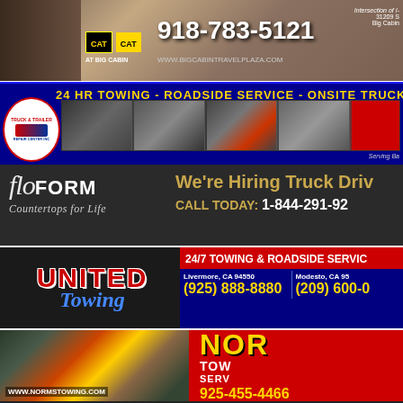[Figure (infographic): Big Cabin Travel Plaza advertisement with truck stop imagery, CAT scale logo, phone number 918-783-5121, website www.bigcabintravelplaza.com, intersection location info]
[Figure (infographic): Truck & Trailer service center ad: 24 HR TOWING - ROADSIDE SERVICE - ONSITE TRUCK repair, multiple truck photos, Serving Ba[kersfield]]
[Figure (infographic): FloForm Countertops for Life - We're Hiring Truck Drivers, CALL TODAY: 1-844-291-92[xx]]
[Figure (infographic): United Towing - 24/7 TOWING & ROADSIDE SERVICE, Livermore CA 94550 (925) 888-8880, Modesto CA 95[xxx] (209) 600-0[xxx]]
[Figure (infographic): Norm's Towing Service ad with truck photo, phone 925-455-4466, website www.normstowing.com]
[Figure (infographic): Lummi Bay Market - Food - 16 Fuel Pumps - Truck Parking, www.exit260.com, phone 360-778-1[xxx]]